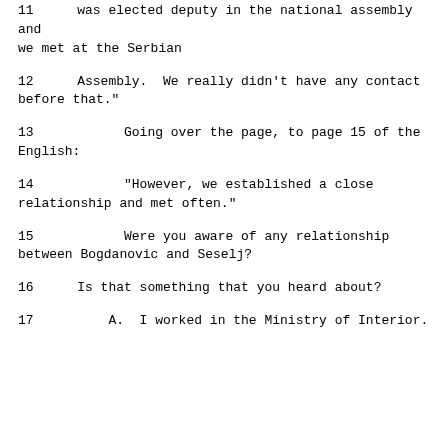11     was elected deputy in the national assembly and we met at the Serbian
12     Assembly.  We really didn't have any contact before that."
13             Going over the page, to page 15 of the English:
14             "However, we established a close relationship and met often."
15             Were you aware of any relationship between Bogdanovic and Seselj?
16     Is that something that you heard about?
17         A.   I worked in the Ministry of Interior.